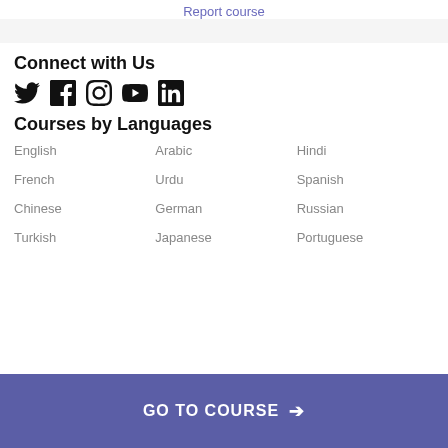Report course
Connect with Us
[Figure (illustration): Social media icons: Twitter, Facebook, Instagram, YouTube, LinkedIn]
Courses by Languages
English
Arabic
Hindi
French
Urdu
Spanish
Chinese
German
Russian
Turkish
Japanese
Portuguese
GO TO COURSE →